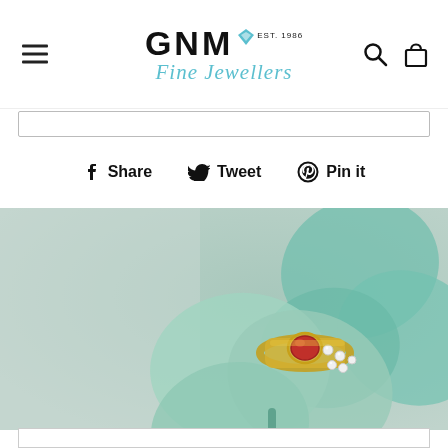GNM Fine Jewellers
[Figure (photo): Close-up photo of a gold ring with a red garnet centre stone and surrounding diamonds, placed on top of a green shamrock/clover, with a soft muted background.]
Share   Tweet   Pin it